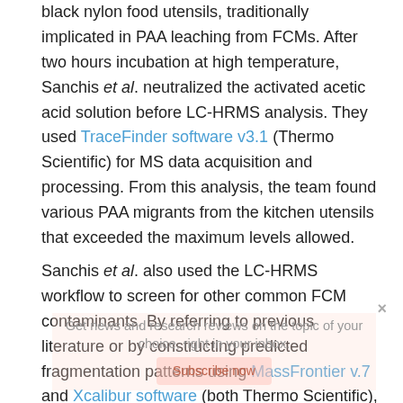black nylon food utensils, traditionally implicated in PAA leaching from FCMs. After two hours incubation at high temperature, Sanchis et al. neutralized the activated acetic acid solution before LC-HRMS analysis. They used TraceFinder software v3.1 (Thermo Scientific) for MS data acquisition and processing. From this analysis, the team found various PAA migrants from the kitchen utensils that exceeded the maximum levels allowed.
Sanchis et al. also used the LC-HRMS workflow to screen for other common FCM contaminants. By referring to previous literature or by constructing predicted fragmentation patterns using MassFrontier v.7 and Xcalibur software (both Thermo Scientific), they compiled a theoretical database for common FCM migrants. Using this approach, they conducted a